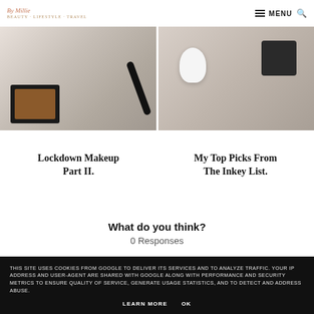By Millie | MENU
[Figure (photo): Left: Makeup palette and mascara on light surface. Right: White earbuds and dark cosmetic pot on beige background.]
Lockdown Makeup Part II.
My Top Picks From The Inkey List.
What do you think?
0 Responses
THIS SITE USES COOKIES FROM GOOGLE TO DELIVER ITS SERVICES AND TO ANALYZE TRAFFIC. YOUR IP ADDRESS AND USER-AGENT ARE SHARED WITH GOOGLE ALONG WITH PERFORMANCE AND SECURITY METRICS TO ENSURE QUALITY OF SERVICE, GENERATE USAGE STATISTICS, AND TO DETECT AND ADDRESS ABUSE.
LEARN MORE   OK